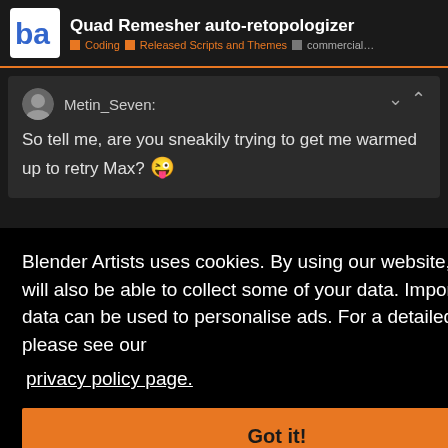Quad Remesher auto-retopologizer | Coding | Released Scripts and Themes | commercial...
Metin_Seven:
So tell me, are you sneakily trying to get me warmed up to retry Max? 😜
Blender Artists uses cookies. By using our website, our partners will also be able to collect some of your data. Importantly, your data can be used to personalise ads. For a detailed overview, please see our privacy policy page.
Got it!
Danny McGrath